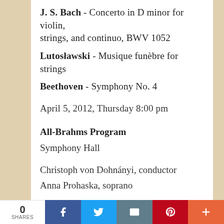J. S. Bach - Concerto in D minor for violin, strings, and continuo, BWV 1052
Lutosławski - Musique funèbre for strings
Beethoven - Symphony No. 4
April 5, 2012, Thursday 8:00 pm
All-Brahms Program
Symphony Hall
Christoph von Dohnányi, conductor
Anna Prohaska, soprano
0 SHARES | Facebook | Twitter | Email | Pinterest | More